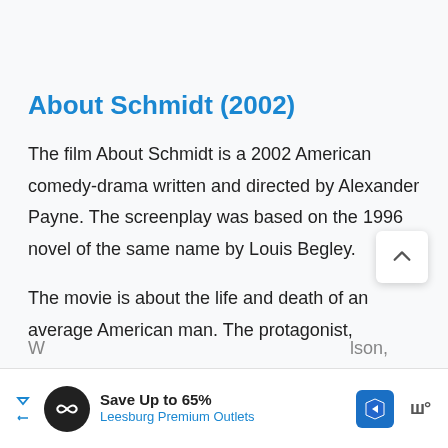About Schmidt (2002)
The film About Schmidt is a 2002 American comedy-drama written and directed by Alexander Payne. The screenplay was based on the 1996 novel of the same name by Louis Begley.
The movie is about the life and death of an average American man. The protagonist,
W... lson, H... (partially visible, obscured by ad)
[Figure (screenshot): Advertisement banner at bottom: 'Save Up to 65% Leesburg Premium Outlets' with circular icon, navigation arrow icon, and brand mark]